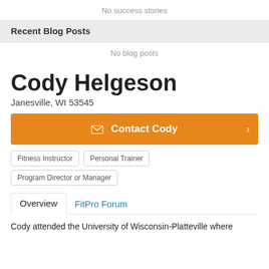No success stories
Recent Blog Posts
No blog posts
Cody Helgeson
Janesville, WI 53545
Contact Cody
Fitness Instructor
Personal Trainer
Program Director or Manager
Overview  FitPro Forum
Cody attended the University of Wisconsin-Platteville where